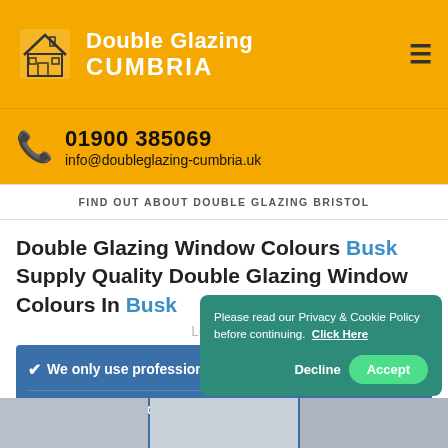Double Glazing CUMBRIA
01900 385069
info@doubleglazing-cumbria.uk
FIND OUT ABOUT DOUBLE GLAZING BRISTOL
Double Glazing Window Colours Busk Supply Quality Double Glazing Window Colours In Busk
Loading ...
We only use professional powder coat paint
Our windows colo...
Please read our Privacy & Cookie Policy before continuing. Click Here
Decline
Accept